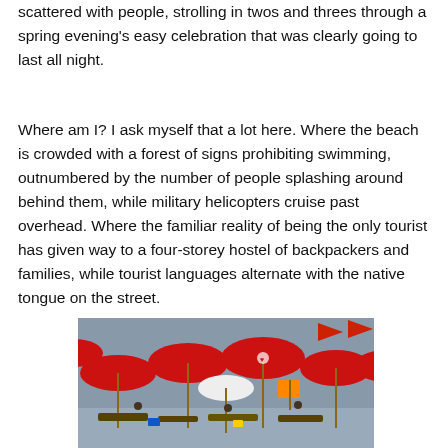scattered with people, strolling in twos and threes through a spring evening’s easy celebration that was clearly going to last all night.
Where am I? I ask myself that a lot here. Where the beach is crowded with a forest of signs prohibiting swimming, outnumbered by the number of people splashing around behind them, while military helicopters cruise past overhead. Where the familiar reality of being the only tourist has given way to a four-storey hostel of backpackers and families, while tourist languages alternate with the native tongue on the street.
[Figure (photo): Beach scene with multiple red umbrellas and beach chairs crowded together against a grey-blue sky. Some flags and signage visible among the umbrellas.]